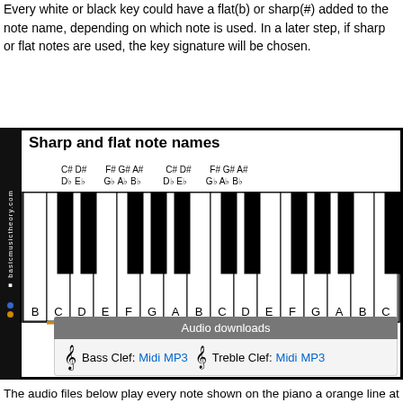Every white or black key could have a flat(b) or sharp(#) added to the note name, depending on which note is used. In a later step, if sharp or flat notes are used, the key signature will be chosen.
[Figure (illustration): Piano keyboard diagram showing sharp and flat note names (C#/Db, D#/Eb, F#/Gb, G#/Ab, A#/Bb) above the keys, with white keys labeled B C D E F G A B C D E F G A B C from left to right. The C key below middle is highlighted with an orange underline. The diagram has a black sidebar on the left with 'basicmusictheory.com' text and colored dots.]
The audio files below play every note shown on the piano above, from left to right. The first note (shown by the orange line at the bottom) is the 2nd note heard.
| Audio downloads |
| --- |
| Bass Clef: Midi MP3 | Treble Clef: Midi MP3 |